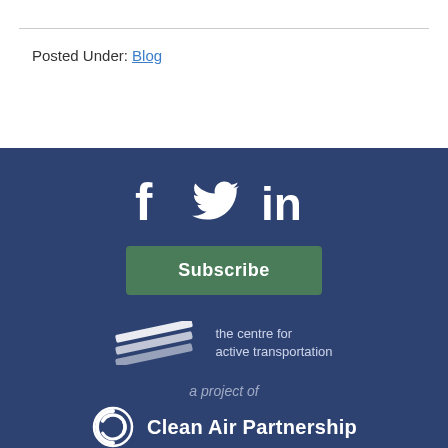Posted Under: Blog
[Figure (logo): Social media icons: Facebook, Twitter, LinkedIn on dark blue background]
Subscribe
[Figure (logo): The centre for active transportation logo — diagonal stripes with text]
a project of
[Figure (logo): Clean Air Partnership logo — spiral circle icon with text]